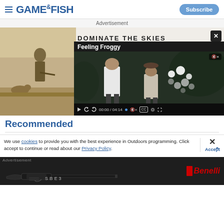GAME&FISH | Subscribe
Advertisement
[Figure (screenshot): Video player overlay showing 'Feeling Froggy' video with two figures in outdoor setting, video controls showing 00:00 / 04:14, with a background advertisement showing a hunter in a field with text 'DOMINATE THE SKIES']
Recommended
We use cookies to provide you with the best experience in Outdoors programming. Click accept to continue or read about our Privacy Policy.
Advertisement
[Figure (screenshot): Benelli SBE3 shotgun advertisement showing a black shotgun with SBE3 text and Benelli logo on dark background]